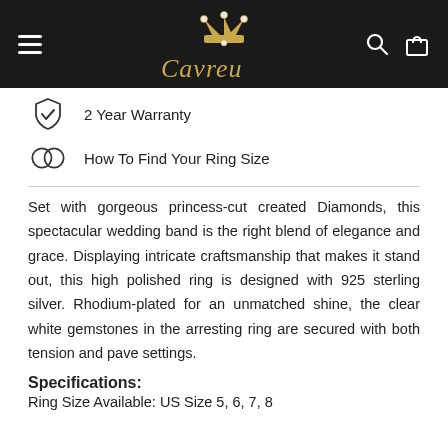[Figure (logo): Cavreu jewelry brand logo with golden crown and cursive script on black header bar, with hamburger menu, search icon, and cart icon]
2 Year Warranty
How To Find Your Ring Size
Set with gorgeous princess-cut created Diamonds, this spectacular wedding band is the right blend of elegance and grace. Displaying intricate craftsmanship that makes it stand out, this high polished ring is designed with 925 sterling silver. Rhodium-plated for an unmatched shine, the clear white gemstones in the arresting ring are secured with both tension and pave settings.
Specifications:
Ring Size Available: US Size 5, 6, 7, 8